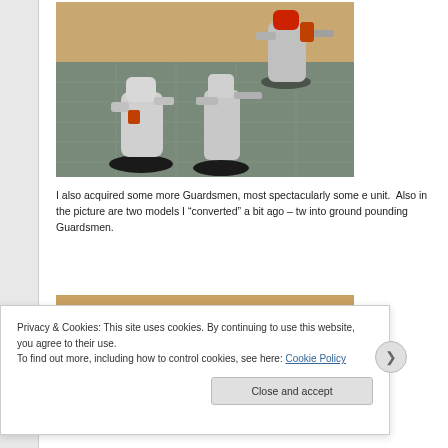[Figure (photo): Three unpainted pewter miniature figurines (Guardsmen) posed on a cutting mat surface with a wooden background. The figures are in military/sci-fi poses carrying weapons.]
I also acquired some more Guardsmen, most spectacularly some e unit.  Also in the picture are two models I “converted” a bit ago – tw into ground pounding Guardsmen.
[Figure (photo): Partial view of another photo showing a wooden surface, bottom portion cut off by cookie banner overlay.]
Privacy & Cookies: This site uses cookies. By continuing to use this website, you agree to their use.
To find out more, including how to control cookies, see here: Cookie Policy
Close and accept